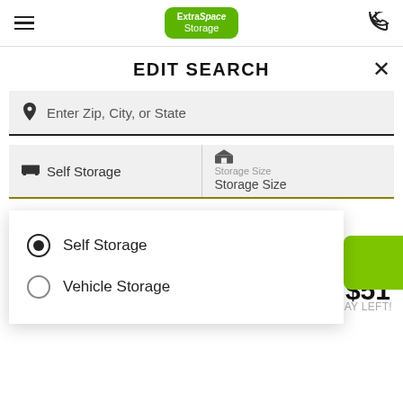[Figure (logo): Extra Space Storage green logo badge in navigation bar]
EDIT SEARCH
Enter Zip, City, or State
Self Storage
Storage Size
Storage Size
Self Storage (selected radio option)
Vehicle Storage
ACT FAST: 1 DAY LEFT!
Small 5' x 5'
1st Floor Access
$83
$51